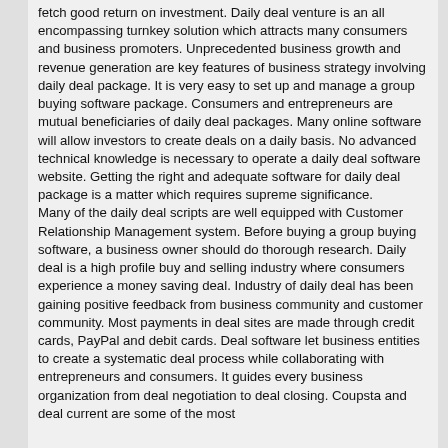fetch good return on investment. Daily deal venture is an all encompassing turnkey solution which attracts many consumers and business promoters. Unprecedented business growth and revenue generation are key features of business strategy involving daily deal package. It is very easy to set up and manage a group buying software package. Consumers and entrepreneurs are mutual beneficiaries of daily deal packages. Many online software will allow investors to create deals on a daily basis. No advanced technical knowledge is necessary to operate a daily deal software website. Getting the right and adequate software for daily deal package is a matter which requires supreme significance.
Many of the daily deal scripts are well equipped with Customer Relationship Management system. Before buying a group buying software, a business owner should do thorough research. Daily deal is a high profile buy and selling industry where consumers experience a money saving deal. Industry of daily deal has been gaining positive feedback from business community and customer community. Most payments in deal sites are made through credit cards, PayPal and debit cards. Deal software let business entities to create a systematic deal process while collaborating with entrepreneurs and consumers. It guides every business organization from deal negotiation to deal closing. Coupsta and deal current are some of the most